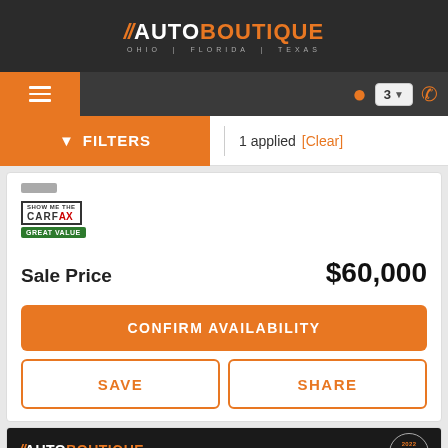[Figure (logo): Auto Boutique logo with orange slashes, white AUTO and orange BOUTIQUE text, OHIO | FLORIDA | TEXAS subtitle]
[Figure (screenshot): Navigation bar with hamburger menu (orange), location pin icon (orange), location selector showing 3, phone icon (orange)]
FILTERS | 1 applied [Clear]
[Figure (logo): CARFAX Show Me The CARFAX badge with GREAT VALUE green label]
Sale Price $60,000
CONFIRM AVAILABILITY
SAVE
SHARE
[Figure (logo): Auto Boutique banner in dark background with OHIO | FLORIDA | TEXAS and 2022 Consumer Satisfaction Award badge]